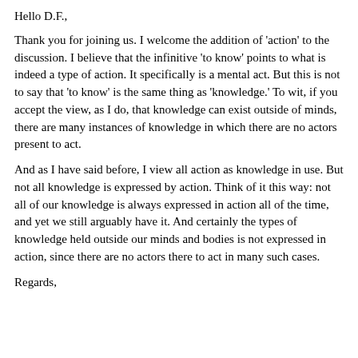Hello D.F.,
Thank you for joining us. I welcome the addition of 'action' to the discussion. I believe that the infinitive 'to know' points to what is indeed a type of action. It specifically is a mental act. But this is not to say that 'to know' is the same thing as 'knowledge.' To wit, if you accept the view, as I do, that knowledge can exist outside of minds, there are many instances of knowledge in which there are no actors present to act.
And as I have said before, I view all action as knowledge in use. But not all knowledge is expressed by action. Think of it this way: not all of our knowledge is always expressed in action all of the time, and yet we still arguably have it. And certainly the types of knowledge held outside our minds and bodies is not expressed in action, since there are no actors there to act in many such cases.
Regards,